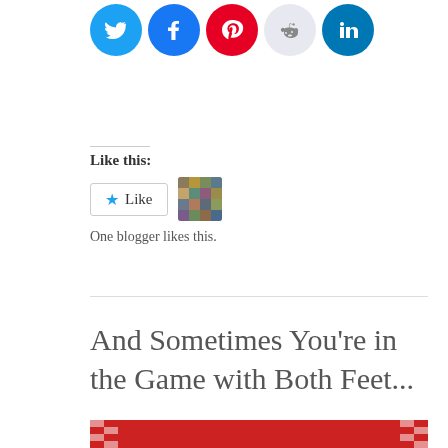[Figure (other): Social media sharing icons: Twitter (blue), Facebook (blue), Pinterest (red), Reddit (light gray), LinkedIn (blue)]
Like this:
[Figure (other): Like button with star icon and a blogger avatar thumbnail]
One blogger likes this.
And Sometimes You're in the Game with Both Feet...
[Figure (photo): A smiling woman with dark hair wearing a floral dress and white cardigan, standing in front of red checkered curtains]